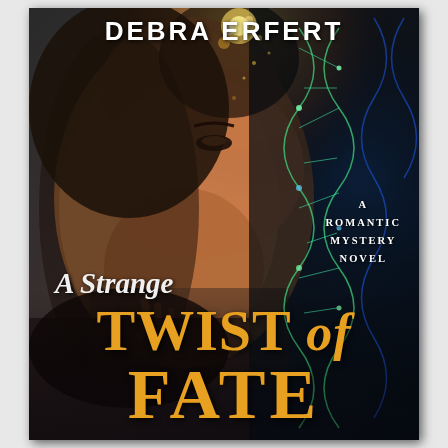[Figure (illustration): Book cover for 'A Strange Twist of Fate' by Debra Erfert. The cover shows a close-up of a woman's face in profile on the left, with warm golden-orange lighting. On the right side is a dark blue-teal background with a glowing DNA double helix strand. The overall mood is dramatic and mysterious.]
DEBRA ERFERT
A ROMANTIC MYSTERY NOVEL
A Strange TWIST of FATE